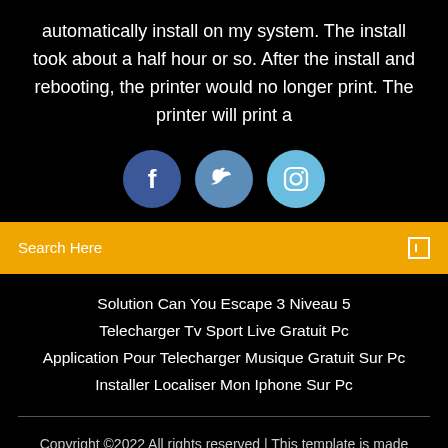automatically install on my system. The install took about a half hour or so. After the install and rebooting, the printer would no longer print. The printer will print a
[Figure (infographic): Three social media icon circles: Facebook (dark blue), Twitter (medium blue), Instagram (light blue)]
Search Here
Solution Can You Escape 3 Niveau 5
Telecharger Tv Sport Live Gratuit Pc
Application Pour Telecharger Musique Gratuit Sur Pc
Installer Localiser Mon Iphone Sur Pc
Copyright ©2022 All rights reserved | This template is made with ♡ by Colorlib